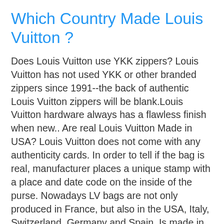Which Country Made Louis Vuitton ?
Does Louis Vuitton use YKK zippers? Louis Vuitton has not used YKK or other branded zippers since 1991--the back of authentic Louis Vuitton zippers will be blank.Louis Vuitton hardware always has a flawless finish when new.. Are real Louis Vuitton Made in USA? Louis Vuitton does not come with any authenticity cards. In order to tell if the bag is real, manufacturer places a unique stamp with a place and date code on the inside of the purse. Nowadays LV bags are not only produced in France, but also in the USA, Italy, Switzerland, Germany and Spain. Is made in France Louis Vuitton better? It's all the same and the quality standards are the same. A lot of people are of the opinion that when it is made in France that the overall quality of the bag is better.